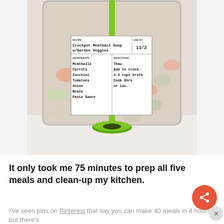[Figure (photo): A freezer bag filled with raw meatballs, carrots, zucchini, and other vegetables, held open by a green bag holder stand. A white label card attached to the bag reads: RECIPE Crockpot Meatball Soup w/Garden Veggies, USE BY 11/2, INGREDIENTS: Meatballs, Carrots, Zucchini, Tomatoes, Onion, Beans, Pasta Sauce; DIRECTIONS: Thaw. Add to crock. 4-4 cups broth. Cook 8hrs or low.]
It only took me 75 minutes to prep all five meals and clean-up my kitchen.
I've seen pins on Pinterest that say you can make 40 meals in 4 hours, but there's